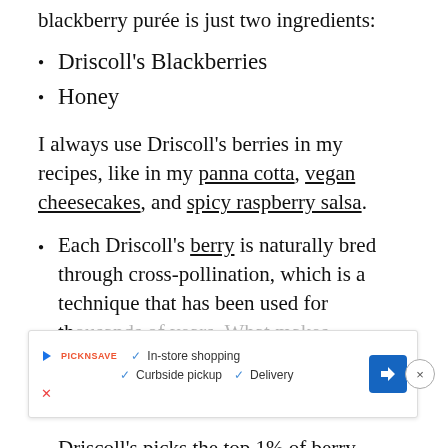blackberry purée is just two ingredients:
Driscoll's Blackberries
Honey
I always use Driscoll's berries in my recipes, like in my panna cotta, vegan cheesecakes, and spicy raspberry salsa.
Each Driscoll's berry is naturally bred through cross-pollination, which is a technique that has been used for thousands of years. What makes Driscoll's unique is that:
Driscoll's picks the top 1% of berry varieties to sell under their name! Pretty